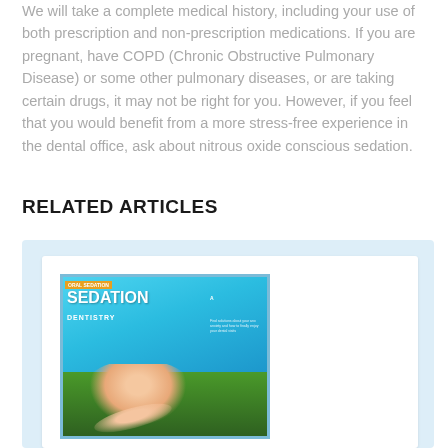We will take a complete medical history, including your use of both prescription and non-prescription medications. If you are pregnant, have COPD (Chronic Obstructive Pulmonary Disease) or some other pulmonary diseases, or are taking certain drugs, it may not be right for you. However, if you feel that you would benefit from a more stress-free experience in the dental office, ask about nitrous oxide conscious sedation.
RELATED ARTICLES
[Figure (photo): Magazine cover for 'Oral Sedation Dentistry' showing a person lying on grass looking up at a blue sky with clouds]
Oral Sedation Dentistry
Step out from under the shadow of fear and into the...